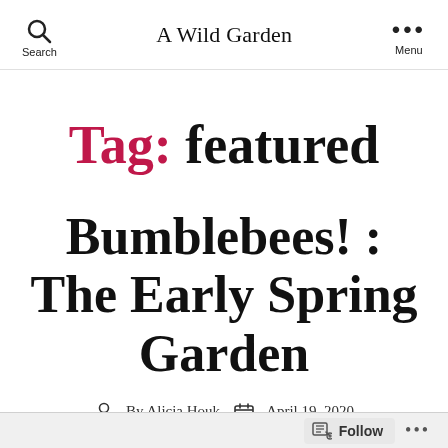A Wild Garden
Tag: featured
Bumblebees! : The Early Spring Garden
By Alicia Houk  April 19, 2020
No Comments